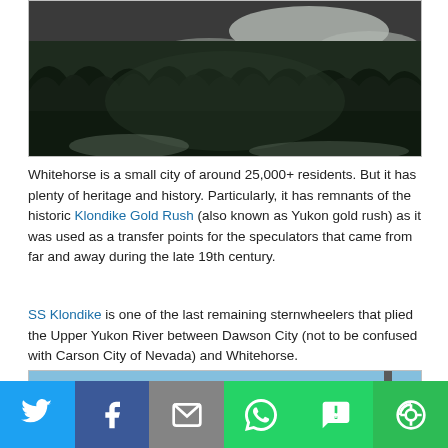[Figure (photo): Aerial or elevated view of a snowy mountain landscape with dense dark coniferous forest and snow patches]
Whitehorse is a small city of around 25,000+ residents. But it has plenty of heritage and history. Particularly, it has remnants of the historic Klondike Gold Rush (also known as Yukon gold rush) as it was used as a transfer points for the speculators that came from far and away during the late 19th century.
SS Klondike is one of the last remaining sternwheelers that plied the Upper Yukon River between Dawson City (not to be confused with Carson City of Nevada) and Whitehorse.
[Figure (photo): Blue sky with top of a white structure or mast with arrow/weathervane visible]
[Figure (infographic): Social media share bar with Twitter, Facebook, Email, WhatsApp, SMS, and More buttons]